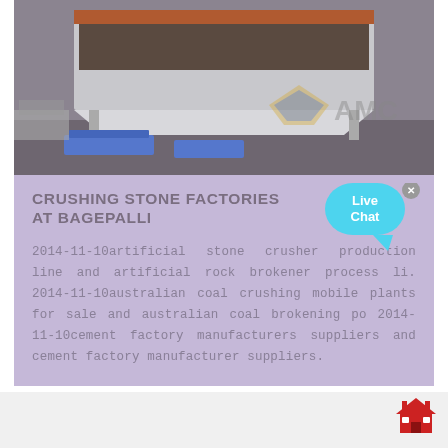[Figure (photo): Industrial photo of a large metal vibrating screen/feeder machine (possibly a mining conveyor or screening unit) with an AMC logo watermark visible in the bottom right of the photo. The machine is gray and orange/brown, resting on blue pallets, photographed outdoors.]
CRUSHING STONE FACTORIES AT BAGEPALLI
2014-11-10artificial stone crusher production line and artificial rock brokener process li. 2014-11-10australian coal crushing mobile plants for sale and australian coal brokening po 2014-11-10cement factory manufacturers suppliers and cement factory manufacturer suppliers.
[Figure (logo): Small red house/home icon in the bottom right corner of the page.]